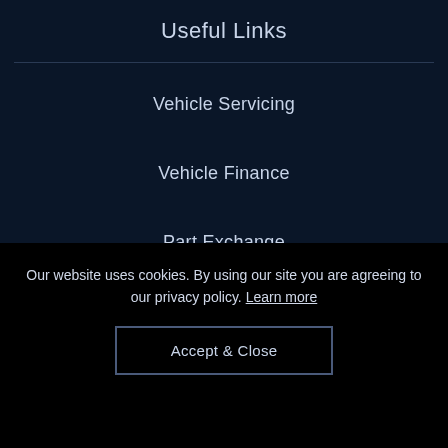Useful Links
Vehicle Servicing
Vehicle Finance
Part Exchange
Vehicle Accessories
Our website uses cookies. By using our site you are agreeing to our privacy policy. Learn more
Accept & Close
Contact Us